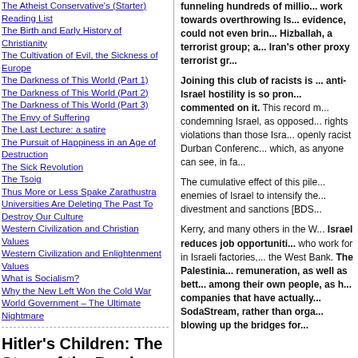The Atheist Conservative's (Starter) Reading List
The Birth and Early History of Christianity
The Cultivation of Evil, the Sickness of Europe
The Darkness of This World (Part 1)
The Darkness of This World (Part 2)
The Darkness of This World (Part 3)
The Envy of Suffering
The Last Lecture: a satire
The Pursuit of Happiness in an Age of Destruction
The Sick Revolution
The Tsoig
Thus More or Less Spake Zarathustra
Universities Are Deleting The Past To Destroy Our Culture
Western Civilization and Christian Values
Western Civilization and Enlightenment Values
What is Socialism?
Why the New Left Won the Cold War
World Government – The Ultimate Nightmare
Hitler's Children: The Story of the Baader-Meinhof Terrorist Gang
A new edition of Jillian Becker's famous
funneling hundreds of millions... work towards overthrowing Is... evidence, could not even brin... Hizballah, a terrorist group; a... Iran's other proxy terrorist gr...
Joining this club of racists is ... anti-Israel hostility is so pron... commented on it. This record m... condemning Israel, as opposed... rights violations than those Isra... openly racist Durban Conferenc... which, as anyone can see, in fa...
The cumulative effect of this pile... enemies of Israel to intensify the... divestment and sanctions [BDS...
Kerry, and many others in the W... Israel reduces job opportuniti... who work for in Israeli factories,... the West Bank. The Palestinia... remuneration, as well as bett... among their own people, as h... companies that have actually... SodaStream, rather than orga... blowing up the bridges for...